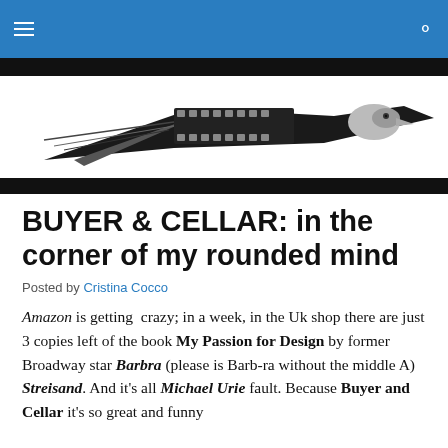Navigation bar with hamburger menu and search icon
[Figure (logo): Film reel and eagle logo graphic in black and white/grayscale, horizontal banner style]
BUYER & CELLAR: in the corner of my rounded mind
Posted by Cristina Cocco
Amazon is getting crazy; in a week, in the Uk shop there are just 3 copies left of the book My Passion for Design by former Broadway star Barbra (please is Barb-ra without the middle A) Streisand. And it's all Michael Urie fault. Because Buyer and Cellar it's so great and funny